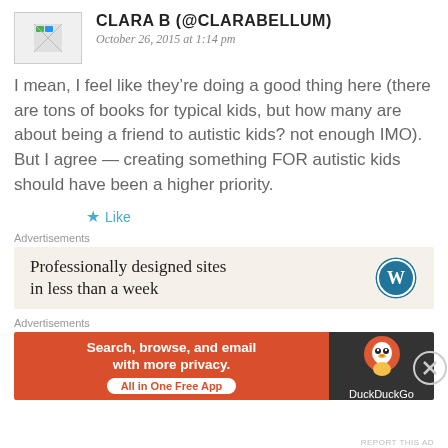CLARA B (@CLARABELLUM)
October 26, 2015 at 1:14 pm
I mean, I feel like they’re doing a good thing here (there are tons of books for typical kids, but how many are about being a friend to autistic kids? not enough IMO). But I agree — creating something FOR autistic kids should have been a higher priority.
★ Like
Advertisements
Professionally designed sites in less than a week
Advertisements
Search, browse, and email with more privacy. All in One Free App